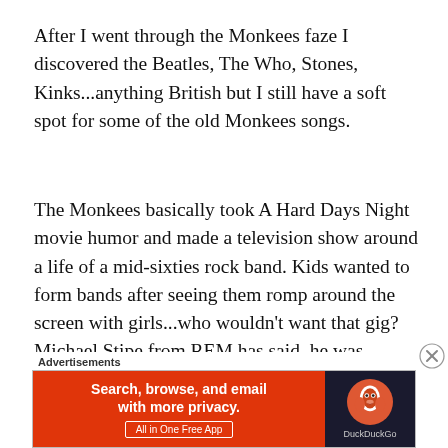After I went through the Monkees faze I discovered the Beatles, The Who, Stones, Kinks...anything British but I still have a soft spot for some of the old Monkees songs.
The Monkees basically took A Hard Days Night movie humor and made a television show around a life of a mid-sixties rock band. Kids wanted to form bands after seeing them romp around the screen with girls...who wouldn't want that gig? Michael Stipe from REM has said  he was influenced by them.
[Figure (other): DuckDuckGo advertisement banner with orange left panel saying 'Search, browse, and email with more privacy. All in One Free App' and dark right panel with DuckDuckGo duck logo and brand name.]